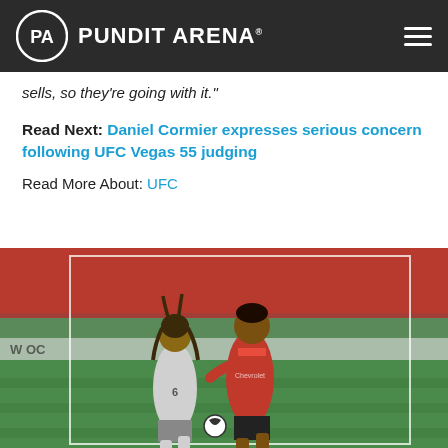PUNDIT ARENA
sells, so they're going with it."
Read Next: Daniel Cormier expresses serious concern following UFC Vegas 55 judging
Read More About: UFC
[Figure (photo): Two football players competing for the ball — one in a white Liverpool kit (number 6), one in a red Manchester United kit — during a match.]